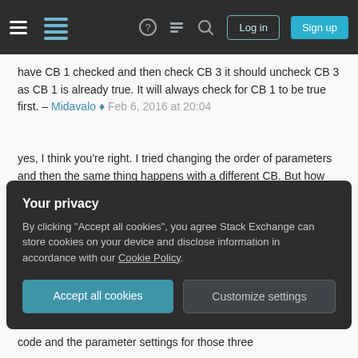Stack Exchange navigation bar with hamburger menu, logo, help, chat, search icons, Log in and Sign up buttons
have CB 1 checked and then check CB 3 it should uncheck CB 3 as CB 1 is already true. It will always check for CB 1 to be true first. – Midavalo ◆ Feb 6, 2016 at 20:04
yes, I think you're right. I tried changing the order of parameters and then the same thing happens with a different CB. But how can I solve this? I would use simple dropdown lists, but this would add one click to each option, which for my tool would severly alter the users clicking effort. I also thought about something like an expanded dropdown list. like this here: databasedev.co.uk/image/listbox.gif what seems strange to me, is that this is doable and pretty easy in
Your privacy
By clicking "Accept all cookies", you agree Stack Exchange can store cookies on your device and disclose information in accordance with our Cookie Policy.
Accept all cookies
Customize settings
code and the parameter settings for those three